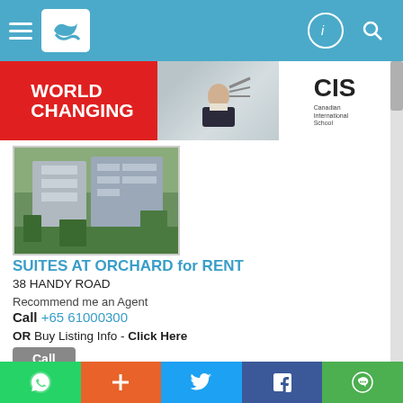[Figure (screenshot): Navigation bar with hamburger menu, logo, and icons on blue background]
[Figure (photo): Advertisement banner: WORLD CHANGING text on red background, person writing on board, CIS Canadian International School logo on white]
[Figure (photo): Property photo of Suites at Orchard condominium building with greenery]
SUITES AT ORCHARD for RENT
38 HANDY ROAD
Recommend me an Agent
Call +65 61000300
OR Buy Listing Info - Click Here
Call
Listed on 14 Aug 22
Property Code: 6499500